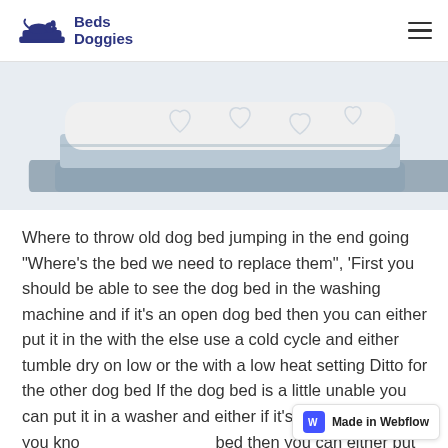Beds for Doggies
[Figure (photo): Side view of a white orthopedic dog bed with heart pattern fabric on top, resting on a grey foam base, against a light grey background.]
Where to throw old dog bed jumping in the end going "Where's the bed we need to replace them", 'First you should be able to see the dog bed in the washing machine and if it's an open dog bed then you can either put it in the with the else use a cold cycle and either tumble dry on low or the with a low heat setting Ditto for the other dog bed If the dog bed is a little unable you can put it in a washer and either if it's an open bed or you know with an open dog bed then you can either put it in the or if it's an open bed